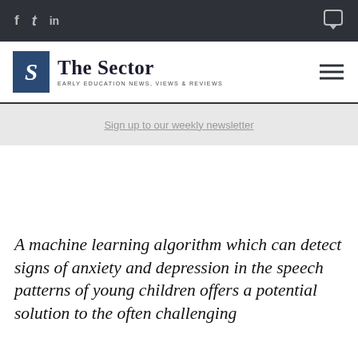f  •  t  •  in  [social bar]
[Figure (logo): The Sector logo — blue S box with 'The Sector' wordmark and 'EARLY EDUCATION NEWS, VIEWS & REVIEWS' tagline, with hamburger menu icon on right]
Sign up to our weekly newsletter
A machine learning algorithm which can detect signs of anxiety and depression in the speech patterns of young children offers a potential solution to the often challenging